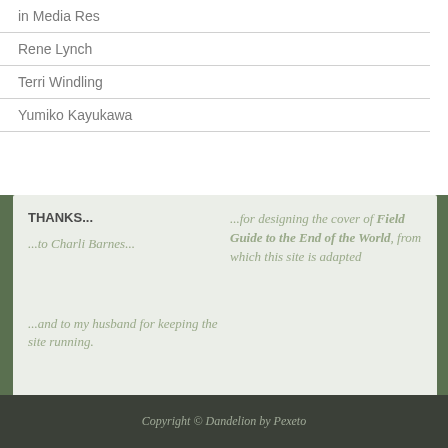in Media Res
Rene Lynch
Terri Windling
Yumiko Kayukawa
THANKS...
...to Charli Barnes...
...for designing the cover of Field Guide to the End of the World, from which this site is adapted
...and to my husband for keeping the site running.
Copyright © Dandelion by Pexeto